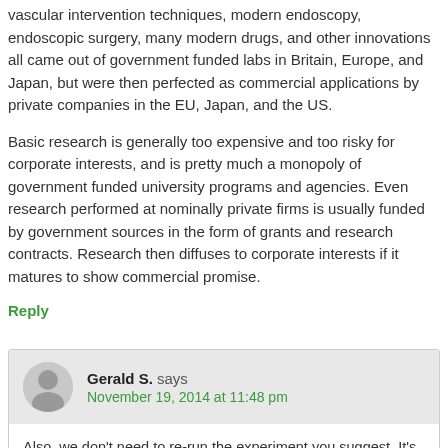vascular intervention techniques, modern endoscopy, endoscopic surgery, many modern drugs, and other innovations all came out of government funded labs in Britain, Europe, and Japan, but were then perfected as commercial applications by private companies in the EU, Japan, and the US.
Basic research is generally too expensive and too risky for corporate interests, and is pretty much a monopoly of government funded university programs and agencies. Even research performed at nominally private firms is usually funded by government sources in the form of grants and research contracts. Research then diffuses to corporate interests if it matures to show commercial promise.
Reply
Gerald S. says
November 19, 2014 at 11:48 pm
Also, we don't need to re-run the experiment you suggest. It's already been run over the last 50 years. If you exclude the oil empires of Texas and now North Dakota, the most